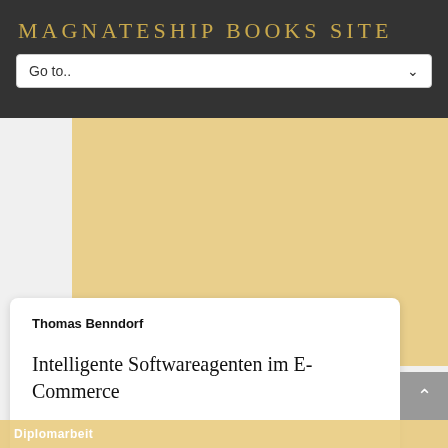MAGNATESHIP BOOKS SITE
Go to..
[Figure (screenshot): Tan/gold background block representing book cover backdrop area]
Thomas Benndorf
Intelligente Softwareagenten im E-Commerce
Diplomarbeit